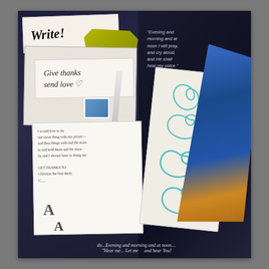[Figure (photo): A collage-style photograph showing stationery items including letters, envelopes, a pen, decorative notebooks with paisley patterns, and handwritten notes. The left side features a 'Write!' card, a 'Give thanks, send love' card, envelopes, a letter, and notepad with handwritten text, and two letter 'A' markers. The right side shows decorative notepads with teal swirl designs, paisley fabric, and a biblical quote reading 'Evening and morning and at noon I will pray, and cry aloud, and He shall hear my voice.' The bottom shows partial text '...Evening and morning and at noon... Hear me... Let me and hear You!' Dark navy background throughout.]